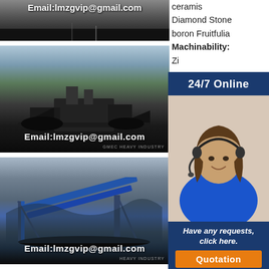[Figure (photo): Top image with email overlay showing Email:lmzgvip@gmail.com on dark industrial background]
[Figure (photo): Middle image of open-pit mining/crushing plant with Email:lmzgvip@gmail.com overlay and GMEC HEAVY INDUSTRY watermark]
[Figure (photo): Bottom image of blue industrial conveyor/crushing equipment with Email:lmzgvip@gmail.com overlay and HEAVY INDUSTRY watermark]
ceramis Diamond Stone boron Fruitfulia Machinability: Zirconium oxide re li gl Di gr de ad M In Th standard for lab and practice. With the R5 a new high-end machine for the dental laboratory ph-dental-lab
[Figure (photo): 24/7 Online popup with woman wearing headset, dark blue background, 'Have any requests, click here.' text and orange Quotation button]